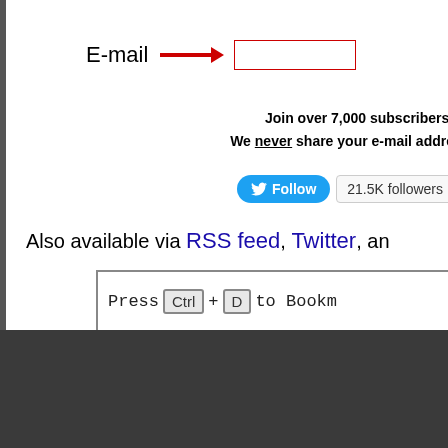E-mail → [input field]
Join over 7,000 subscribers!
We never share your e-mail addre...
[Figure (screenshot): Twitter Follow button with 21.5K followers badge]
Also available via RSS feed, Twitter, an...
[Figure (screenshot): Press Ctrl + D to Bookmark keyboard shortcut graphic]
Copyright © 1995-2022 A... Celebrating 27 Years of Se... RSS Feed | Sitemap | ... Each individual posting is the property of its respective author and the opinions expressed may not repr...